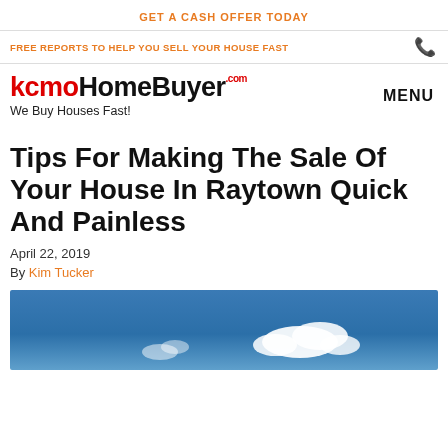GET A CASH OFFER TODAY
FREE REPORTS TO HELP YOU SELL YOUR HOUSE FAST
[Figure (logo): kcmoHomeBuyer.com logo with tagline 'We Buy Houses Fast!' and MENU navigation]
Tips For Making The Sale Of Your House In Raytown Quick And Painless
April 22, 2019
By Kim Tucker
[Figure (photo): Blue sky with white clouds photograph]